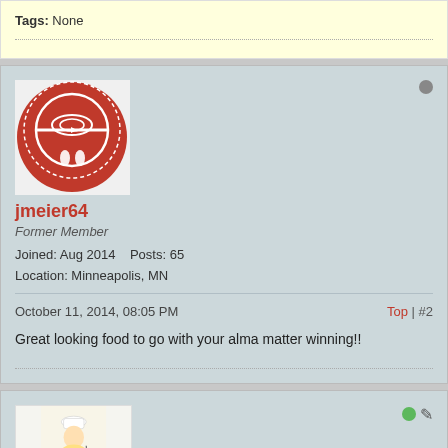Tags: None
jmeier64
Former Member
Joined: Aug 2014   Posts: 65
Location: Minneapolis, MN
October 11, 2014, 08:05 PM
Top | #2
Great looking food to go with your alma matter winning!!
[Figure (photo): Cartoon chef avatar image, partially visible at bottom]